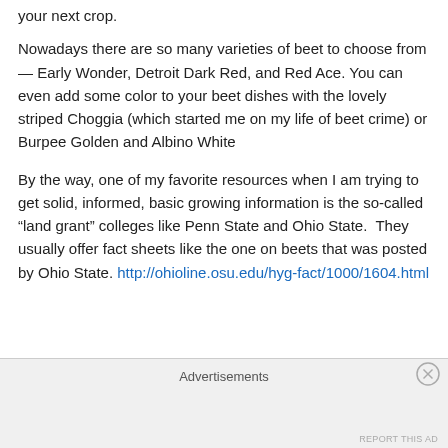your next crop.
Nowadays there are so many varieties of beet to choose from — Early Wonder, Detroit Dark Red, and Red Ace. You can even add some color to your beet dishes with the lovely striped Choggia (which started me on my life of beet crime) or Burpee Golden and Albino White
By the way, one of my favorite resources when I am trying to get solid, informed, basic growing information is the so-called “land grant” colleges like Penn State and Ohio State.  They usually offer fact sheets like the one on beets that was posted by Ohio State. http://ohioline.osu.edu/hyg-fact/1000/1604.html
Advertisements